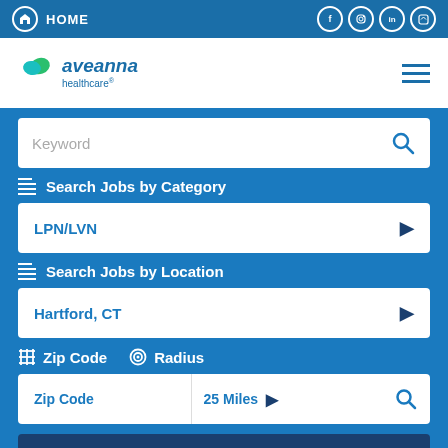HOME
[Figure (logo): Aveanna Healthcare logo with teal and green leaf icon]
Keyword
Search Jobs by Category
LPN/LVN
Search Jobs by Location
Hartford, CT
Zip Code   Radius
Zip Code    25 Miles
View All Jobs Near Me